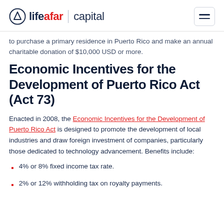lifeafar capital
to purchase a primary residence in Puerto Rico and make an annual charitable donation of $10,000 USD or more.
Economic Incentives for the Development of Puerto Rico Act (Act 73)
Enacted in 2008, the Economic Incentives for the Development of Puerto Rico Act is designed to promote the development of local industries and draw foreign investment of companies, particularly those dedicated to technology advancement. Benefits include:
4% or 8% fixed income tax rate.
2% or 12% withholding tax on royalty payments.